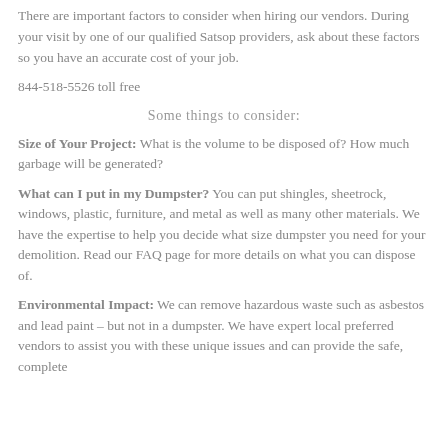There are important factors to consider when hiring our vendors. During your visit by one of our qualified Satsop providers, ask about these factors so you have an accurate cost of your job.
844-518-5526 toll free
Some things to consider:
Size of Your Project: What is the volume to be disposed of? How much garbage will be generated?
What can I put in my Dumpster? You can put shingles, sheetrock, windows, plastic, furniture, and metal as well as many other materials. We have the expertise to help you decide what size dumpster you need for your demolition. Read our FAQ page for more details on what you can dispose of.
Environmental Impact: We can remove hazardous waste such as asbestos and lead paint – but not in a dumpster. We have expert local preferred vendors to assist you with these unique issues and can provide the safe, complete